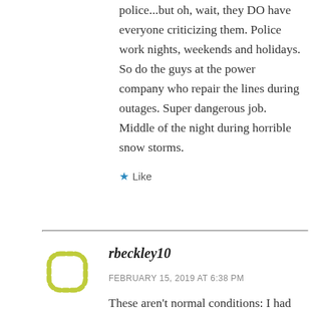police...but oh, wait, they DO have everyone criticizing them. Police work nights, weekends and holidays. So do the guys at the power company who repair the lines during outages. Super dangerous job. Middle of the night during horrible snow storms.
★ Like
rbeckley10
FEBRUARY 15, 2019 AT 6:38 PM
These aren't normal conditions: I had 42 students, 32 desks and 25 books. I worked